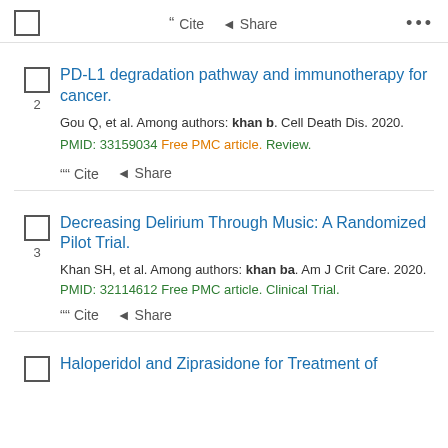Cite Share (top bar)
2. PD-L1 degradation pathway and immunotherapy for cancer. Gou Q, et al. Among authors: khan b. Cell Death Dis. 2020. PMID: 33159034 Free PMC article. Review.
3. Decreasing Delirium Through Music: A Randomized Pilot Trial. Khan SH, et al. Among authors: khan ba. Am J Crit Care. 2020. PMID: 32114612 Free PMC article. Clinical Trial.
4. Haloperidol and Ziprasidone for Treatment of